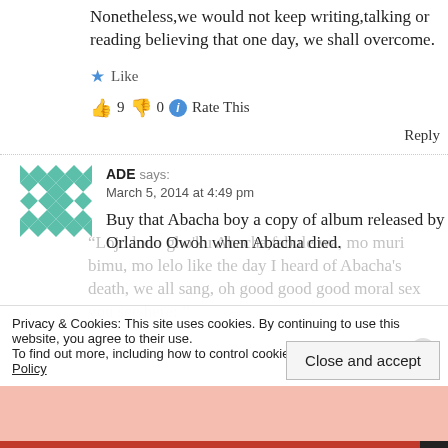Nonetheless,we would not keep writing,talking or reading believing that one day, we shall overcome.
★ Like
👍 9 👎 0 ℹ Rate This
Reply
[Figure (other): User avatar with teal diamond/square pattern]
ADE says: March 5, 2014 at 4:49 pm
Buy that Abacha boy a copy of album released by Orlando Owoh when Abacha died. " Lojo lono gho'ku Abacha,fabule wa, mo muri bimu, mo lelo like the day I heard of Abacha's death, we all sang, oh good good good moral sex you see here: (obscured)
Privacy & Cookies: This site uses cookies. By continuing to use this website, you agree to their use. To find out more, including how to control cookies, see here: Cookie Policy
Close and accept